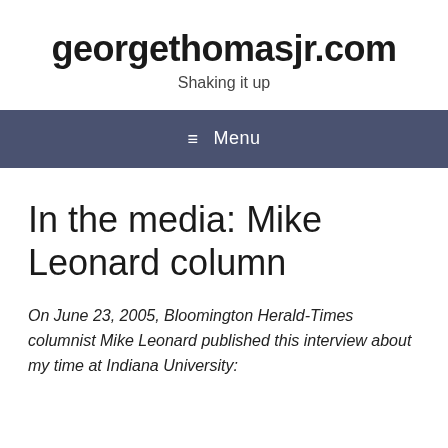georgethomasjr.com
Shaking it up
≡ Menu
In the media: Mike Leonard column
On June 23, 2005, Bloomington Herald-Times columnist Mike Leonard published this interview about my time at Indiana University: